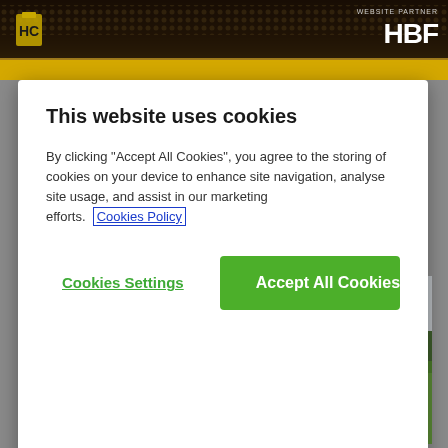[Figure (screenshot): Website header with crowd background image and HBF logo on right, site logo on left, yellow navigation bar below]
[Figure (infographic): Cookie consent modal dialog with title 'This website uses cookies', descriptive text with Cookies Policy link, Cookies Settings button and Accept All Cookies green button]
21 August 2017
[Figure (photo): Group photo of approximately 13 men on a golf course, some kneeling in front, others standing behind, on green grass with trees in background]